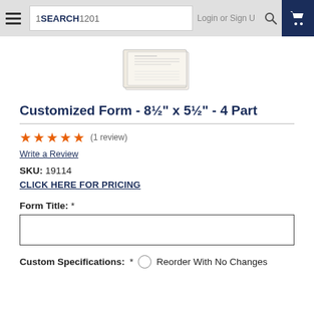SEARCH 1201  Login or Sign Up
[Figure (photo): Product image of a customized form booklet, white/cream colored, small rectangular form pack]
Customized Form - 8½" x 5½" - 4 Part
★★★★★ (1 review)
Write a Review
SKU: 19114
CLICK HERE FOR PRICING
Form Title: *
Custom Specifications: * ○ Reorder With No Changes